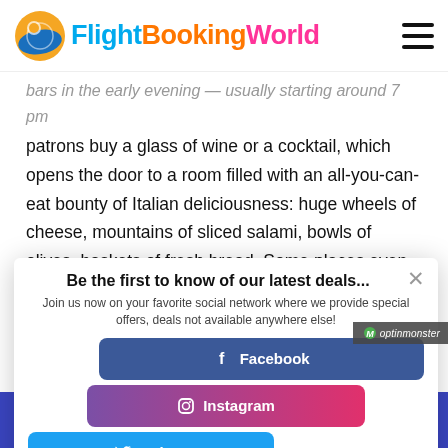FlightBookingWorld
bars in the early evening — usually starting around 7 pm patrons buy a glass of wine or a cocktail, which opens the door to a room filled with an all-you-can-eat bounty of Italian deliciousness: huge wheels of cheese, mountains of sliced salami, bowls of olives, baskets of fresh bread. Some places even serve pasta. It's a great way to eat on the semi-
[Figure (screenshot): FlightBookingWorld popup overlay with social media buttons for Facebook, Instagram, and Twitter. Title: 'Be the first to know of our latest deals...' with subtitle about joining on favorite social network for special offers.]
Be the first to know of our latest deals...
Join us now on your favorite social network where we provide special offers, deals not available anywhere else!
Facebook
Instagram
Twitter